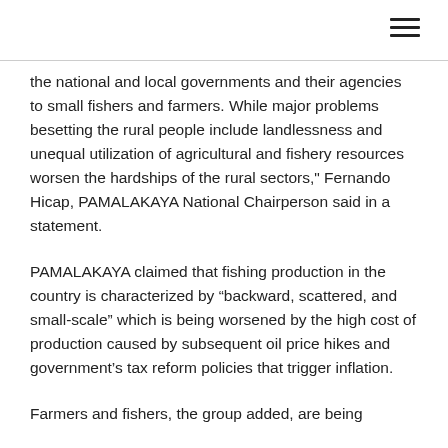the national and local governments and their agencies to small fishers and farmers. While major problems besetting the rural people include landlessness and unequal utilization of agricultural and fishery resources worsen the hardships of the rural sectors," Fernando Hicap, PAMALAKAYA National Chairperson said in a statement.
PAMALAKAYA claimed that fishing production in the country is characterized by “backward, scattered, and small-scale” which is being worsened by the high cost of production caused by subsequent oil price hikes and government’s tax reform policies that trigger inflation.
Farmers and fishers, the group added, are being